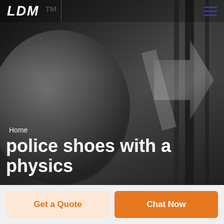[Figure (photo): Grayscale hero image of a smiling man in a suit, with dark vertical bars and diagonal arrow shapes in the background. Dark overlay tinting applied.]
LDM
Home
police shoes with a physics
Get a Quote
Chat Now